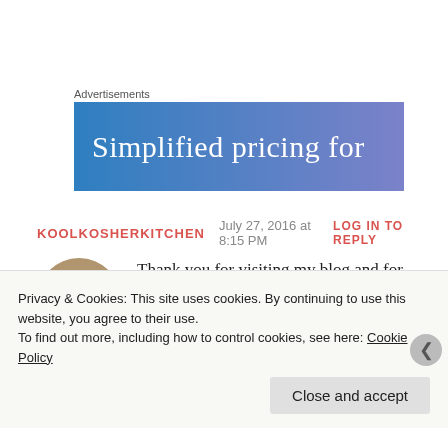Advertisements
[Figure (other): Advertisement banner with gradient blue background and text 'Simplified pricing for']
KOOLKOSHERKITCHEN   July 27, 2016 at 8:15 PM   LOG IN TO REPLY
Thank you for visiting my blog and for the like. I am so happy to have found another kosher blogger! So far my likers and followers have been health-oriented food enthusiasts, and I am
Privacy & Cookies: This site uses cookies. By continuing to use this website, you agree to their use.
To find out more, including how to control cookies, see here: Cookie Policy